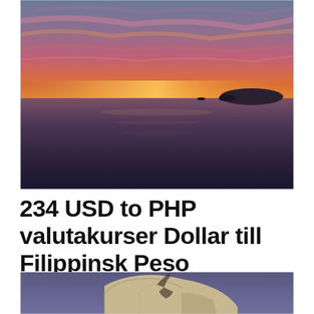[Figure (photo): Aerial sunset photo over ocean with small island visible in the upper right, dramatic orange and pink sky reflecting on dark water]
234 USD to PHP valutakurser Dollar till Filippinsk Peso
[Figure (photo): Partial view of a rocky cliff face with a shadow of a person against limestone rock, purple/blue sky background]